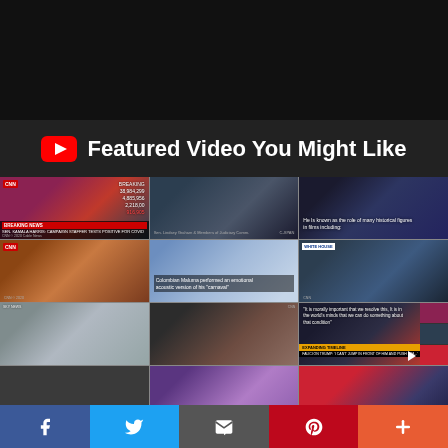[Figure (screenshot): Black top bar (website header area)]
Featured Video You Might Like
[Figure (screenshot): 3x4 grid of video thumbnails from CNN and other news sources covering Kamala Harris, political figures, musicians, Trump, Michael Gove, Melania Trump, Nancy Pelosi, and other topics]
[Figure (screenshot): Social share bar at the bottom with Facebook, Twitter, Email, Pinterest, and More buttons]